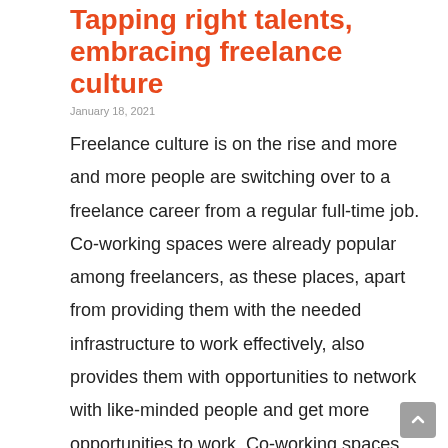Tapping right talents, embracing freelance culture
Freelance culture is on the rise and more and more people are switching over to a freelance career from a regular full-time job. Co-working spaces were already popular among freelancers, as these places, apart from providing them with the needed infrastructure to work effectively, also provides them with opportunities to network with like-minded people and get more opportunities to work. Co-working spaces give a sense of community to freelancers and do not make them feel isolated, when working on their own for long periods of time. As the lockdown is eased, we can